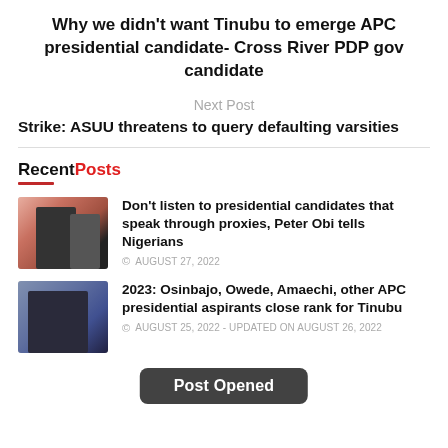Why we didn't want Tinubu to emerge APC presidential candidate- Cross River PDP gov candidate
Next Post
Strike: ASUU threatens to query defaulting varsities
RecentPosts
[Figure (photo): Thumbnail photo of two people, one in dark jacket]
Don't listen to presidential candidates that speak through proxies, Peter Obi tells Nigerians
© AUGUST 27, 2022
[Figure (photo): Thumbnail photo of a man in a suit]
2023: Osinbajo, Owede, Amaechi, other APC presidential aspirants close rank for Tinubu
© AUGUST 25, 2022 - UPDATED ON AUGUST 26, 2022
Post Opened